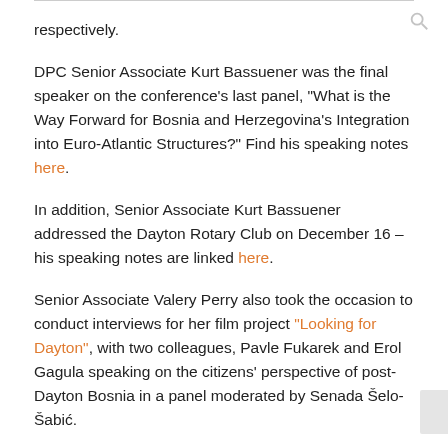respectively.
DPC Senior Associate Kurt Bassuener was the final speaker on the conference's last panel, “What is the Way Forward for Bosnia and Herzegovina’s Integration into Euro-Atlantic Structures?” Find his speaking notes here.
In addition, Senior Associate Kurt Bassuener addressed the Dayton Rotary Club on December 16 – his speaking notes are linked here.
Senior Associate Valery Perry also took the occasion to conduct interviews for her film project “Looking for Dayton”, with two colleagues, Pavle Fukarek and Erol Gagula speaking on the citizens’ perspective of post-Dayton Bosnia in a panel moderated by Senada Šelo-Šabić.